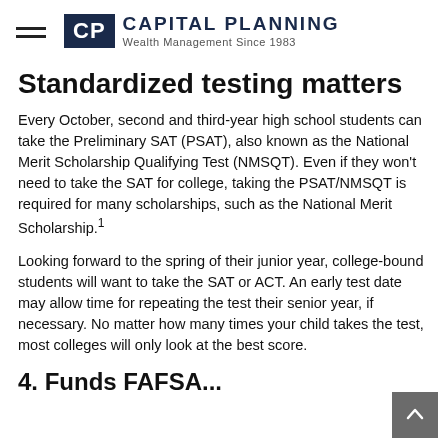CP Capital Planning Wealth Management Since 1983
Standardized testing matters
Every October, second and third-year high school students can take the Preliminary SAT (PSAT), also known as the National Merit Scholarship Qualifying Test (NMSQT). Even if they won't need to take the SAT for college, taking the PSAT/NMSQT is required for many scholarships, such as the National Merit Scholarship.¹
Looking forward to the spring of their junior year, college-bound students will want to take the SAT or ACT. An early test date may allow time for repeating the test their senior year, if necessary. No matter how many times your child takes the test, most colleges will only look at the best score.
4. Funds FAFSA...